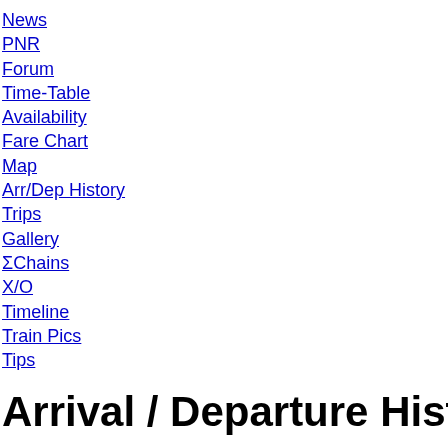News
PNR
Forum
Time-Table
Availability
Fare Chart
Map
Arr/Dep History
Trips
Gallery
ΣChains
X/O
Timeline
Train Pics
Tips
Arrival / Departure History